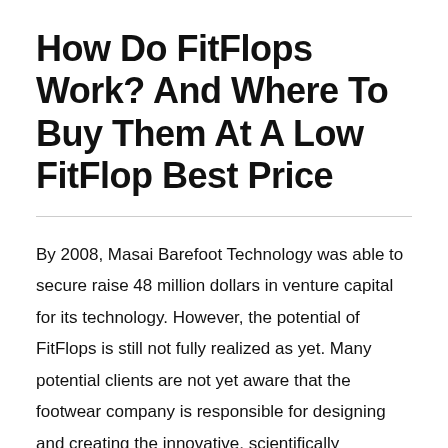How Do FitFlops Work? And Where To Buy Them At A Low FitFlop Best Price
By 2008, Masai Barefoot Technology was able to secure raise 48 million dollars in venture capital for its technology. However, the potential of FitFlops is still not fully realized as yet. Many potential clients are not yet aware that the footwear company is responsible for designing and creating the innovative, scientifically supported Masai Barefoot Technology...